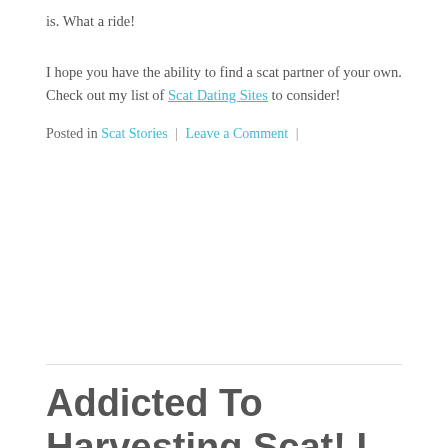is. What a ride!
I hope you have the ability to find a scat partner of your own. Check out my list of Scat Dating Sites to consider!
Posted in Scat Stories | Leave a Comment |
Addicted To Harvesting Scat! I Went To A Public Porta Potty!
Posted on June 22, 2018 by admin